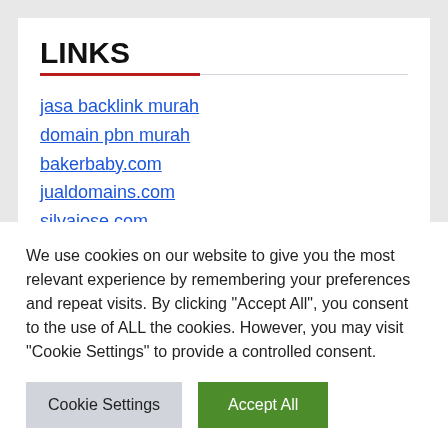LINKS
jasa backlink murah
domain pbn murah
bakerbaby.com
jualdomains.com
silvajose.com
silvahouston.com
libyanatravel.com
We use cookies on our website to give you the most relevant experience by remembering your preferences and repeat visits. By clicking "Accept All", you consent to the use of ALL the cookies. However, you may visit "Cookie Settings" to provide a controlled consent.
Cookie Settings | Accept All